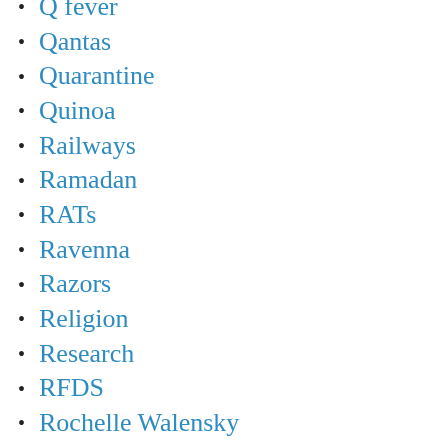Q fever
Qantas
Quarantine
Quinoa
Railways
Ramadan
RATs
Ravenna
Razors
Religion
Research
RFDS
Rochelle Walensky
Rock Art
Roe v Wade
Ron Castan
Rosalind Franklin